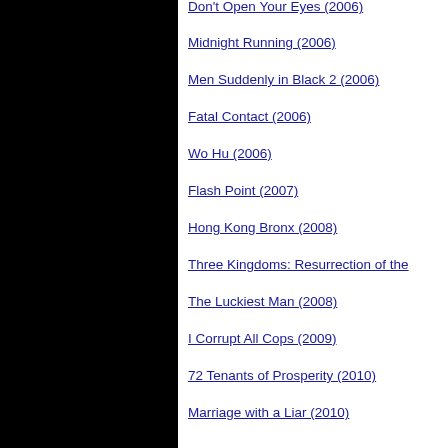Don't Open Your Eyes (2006)
Midnight Running (2006)
Men Suddenly in Black 2 (2006)
Fatal Contact (2006)
Wo Hu (2006)
Flash Point (2007)
Hong Kong Bronx (2008)
Three Kingdoms: Resurrection of the
The Luckiest Man (2008)
I Corrupt All Cops (2009)
72 Tenants of Prosperity (2010)
Marriage with a Liar (2010)
I Love Hong Kong (2011)
Love is the Only Answer (2011)
Summer Love Love (2011)
Naked Soldier (2012)
Lan Kwai Fong 2 (2012)
Young and Dangerous: Reloaded (201
Princess and Seven Kung Fu Masters
Ip Man - The Final Fight (2013)
Flash Play (2013)
Lan Kwai Fong 3 (2013)
The True Love (2014)